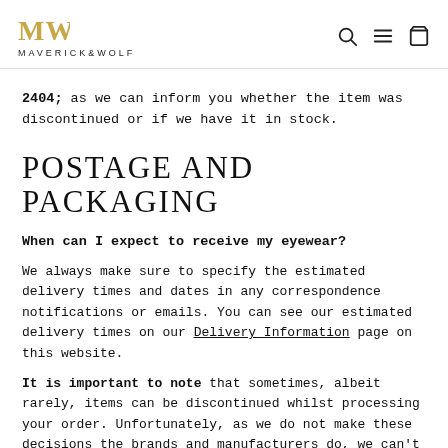MAVERICK&WOLF
2404; as we can inform you whether the item was discontinued or if we have it in stock.
POSTAGE AND PACKAGING
When can I expect to receive my eyewear?
We always make sure to specify the estimated delivery times and dates in any correspondence notifications or emails. You can see our estimated delivery times on our Delivery Information page on this website.
It is important to note that sometimes, albeit rarely, items can be discontinued whilst processing your order. Unfortunately, as we do not make these decisions the brands and manufacturers do, we can't be held responsible. You will